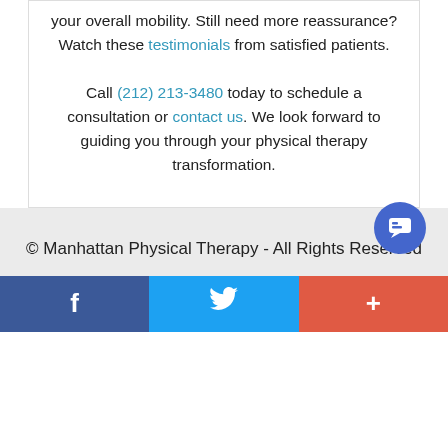your overall mobility. Still need more reassurance? Watch these testimonials from satisfied patients.

Call (212) 213-3480 today to schedule a consultation or contact us. We look forward to guiding you through your physical therapy transformation.
© Manhattan Physical Therapy - All Rights Reserved